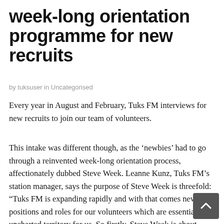week-long orientation programme for new recruits
by tuksuser in Uncategorised
Every year in August and February, Tuks FM interviews for new recruits to join our team of volunteers.
This intake was different though, as the ‘newbies’ had to go through a reinvented week-long orientation process, affectionately dubbed Steve Week. Leanne Kunz, Tuks FM’s station manager, says the purpose of Steve Week is threefold: “Tuks FM is expanding rapidly and with that comes new positions and roles for our volunteers which are essentially uncharted territory for us. So firstly, Steve Week is about ensuring every volunteer understands who we are, who we